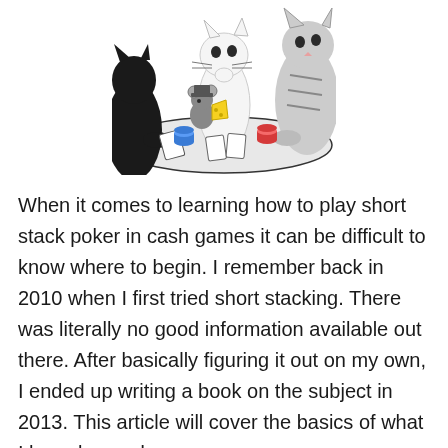[Figure (illustration): A cartoon illustration of cats and a mouse playing poker at a table. The mouse holds a piece of cheese and cards are on the table along with poker chips.]
When it comes to learning how to play short stack poker in cash games it can be difficult to know where to begin. I remember back in 2010 when I first tried short stacking. There was literally no good information available out there. After basically figuring it out on my own, I ended up writing a book on the subject in 2013. This article will cover the basics of what I have learned.